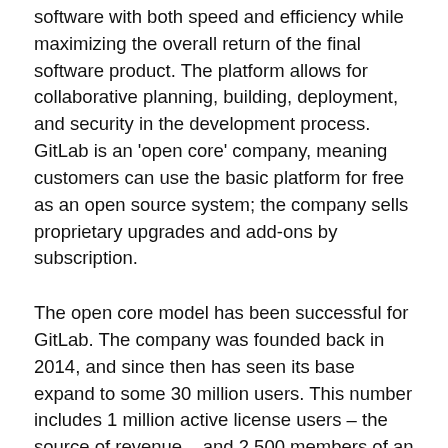software with both speed and efficiency while maximizing the overall return of the final software product. The platform allows for collaborative planning, building, deployment, and security in the development process. GitLab is an 'open core' company, meaning customers can use the basic platform for free as an open source system; the company sells proprietary upgrades and add-ons by subscription.
The open core model has been successful for GitLab. The company was founded back in 2014, and since then has seen its base expand to some 30 million users. This number includes 1 million active license users – the source of revenue – and 2,500 members of an active community of users and developers who offer contributions to the